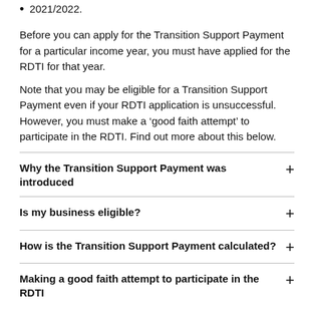2021/2022.
Before you can apply for the Transition Support Payment for a particular income year, you must have applied for the RDTI for that year.
Note that you may be eligible for a Transition Support Payment even if your RDTI application is unsuccessful. However, you must make a ‘good faith attempt’ to participate in the RDTI. Find out more about this below.
Why the Transition Support Payment was introduced
Is my business eligible?
How is the Transition Support Payment calculated?
Making a good faith attempt to participate in the RDTI